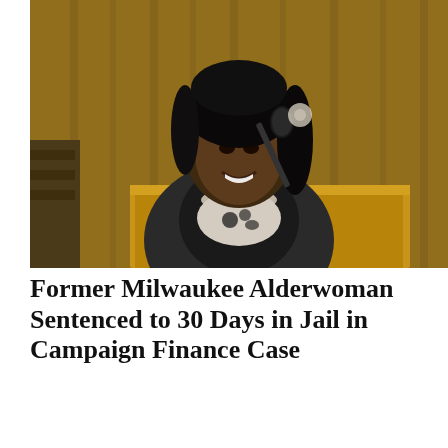[Figure (photo): A woman smiling at a podium with a microphone in what appears to be a formal chamber with wood-paneled walls. She is wearing a dark jacket over a black and white patterned top with a pearl necklace.]
Former Milwaukee Alderwoman Sentenced to 30 Days in Jail in Campaign Finance Case